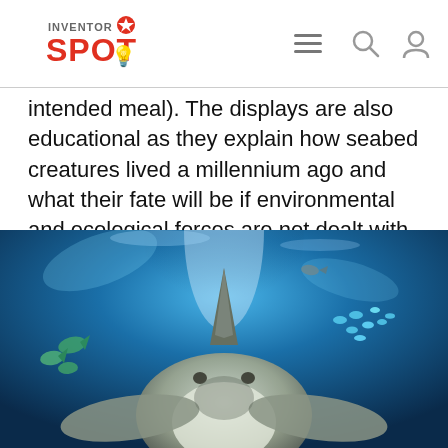INVENTOR SPOT
intended meal). The displays are also educational as they explain how seabed creatures lived a millennium ago and what their fate will be if environmental and ecological forces are not dealt with properly.
[Figure (photo): Underwater photograph showing a shark viewed from the front, with its dorsal fin visible above its head, surrounded by other fish in blue-lit aquarium water with light rays streaming from above.]